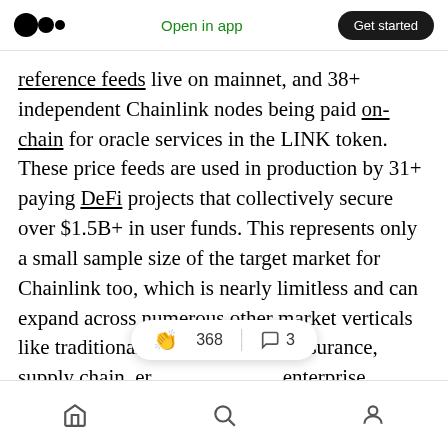Open in app | Get started
reference feeds live on mainnet, and 38+ independent Chainlink nodes being paid on-chain for oracle services in the LINK token. These price feeds are used in production by 31+ paying DeFi projects that collectively secure over $1.5B+ in user funds. This represents only a small sample size of the target market for Chainlink too, which is nearly limitless and can expand across numerous other market verticals like traditional finance, gaming, insurance, supply chain, er… enterprise, government, and more.
368 claps | 3 comments | Home | Search | Profile